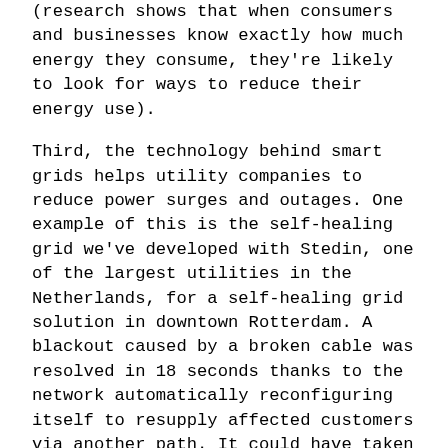(research shows that when consumers and businesses know exactly how much energy they consume, they're likely to look for ways to reduce their energy use).
Third, the technology behind smart grids helps utility companies to reduce power surges and outages. One example of this is the self-healing grid we've developed with Stedin, one of the largest utilities in the Netherlands, for a self-healing grid solution in downtown Rotterdam. A blackout caused by a broken cable was resolved in 18 seconds thanks to the network automatically reconfiguring itself to resupply affected customers via another path. It could have taken hours to fix this fault if we were talking about a traditional grid.
Given South Africa's growth, we must make use of the time we have now to transform the energy sector and realize a green recovery. South Africa's population is expected to grow by ten million by 2030, up from the current 58 million today. And many more people will be living in South African cities. South Africa's energy...